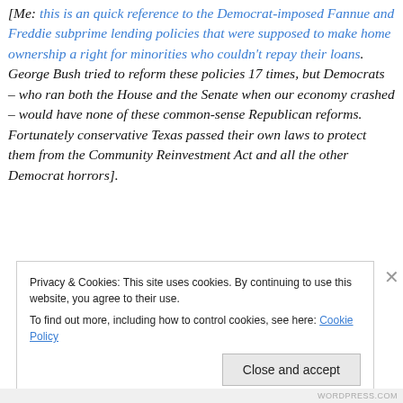[Me: this is an quick reference to the Democrat-imposed Fannue and Freddie subprime lending policies that were supposed to make home ownership a right for minorities who couldn't repay their loans.  George Bush tried to reform these policies 17 times, but Democrats – who ran both the House and the Senate when our economy crashed – would have none of these common-sense Republican reforms.  Fortunately conservative Texas passed their own laws to protect them from the Community Reinvestment Act and all the other Democrat horrors].
Privacy & Cookies: This site uses cookies. By continuing to use this website, you agree to their use.
To find out more, including how to control cookies, see here: Cookie Policy
Close and accept
WORDPRESS.COM